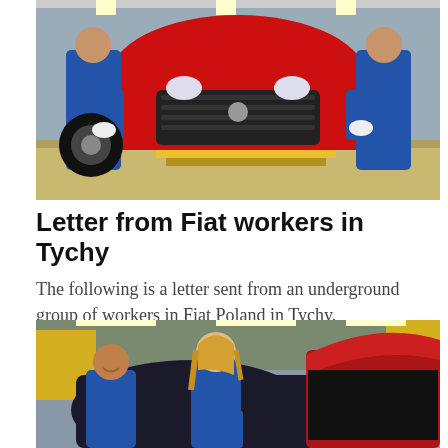[Figure (photo): Factory workers in blue uniforms assembling a red Fiat car on an assembly line. One worker on the left holds a tire while another on the right assists. Yellow safety markings visible on the floor.]
Letter from Fiat workers in Tychy
The following is a letter sent from an underground group of workers in Fiat Poland in Tychy.
[Figure (photo): Female worker with blonde hair in blue uniform working on a dark-colored car body on the assembly line. Male worker visible on the left. A red car with open trunk visible on the right. Industrial factory setting with yellow equipment in the background.]